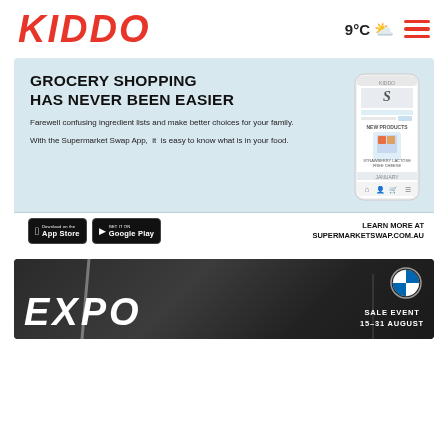KIDDO  9°C  ☁️  ☰
[Figure (infographic): Supermarket Swap App advertisement banner with light blue background. Headline: GROCERY SHOPPING HAS NEVER BEEN EASIER. Body text: Farewell confusing ingredient lists and make better choices for your family. With the Supermarket Swap App, it is easy to know what is in your food. Phone mockup screenshot on right side. App Store and Google Play badges at bottom left. LEARN MORE AT SUPERMARKETSWAP.COM.AU at bottom right.]
[Figure (infographic): BMW EXPO Sale Event advertisement banner. Dark background with car. Text EXPO in large italic white letters. BMW logo. SALE EVENT 15-31 AUGUST text.]